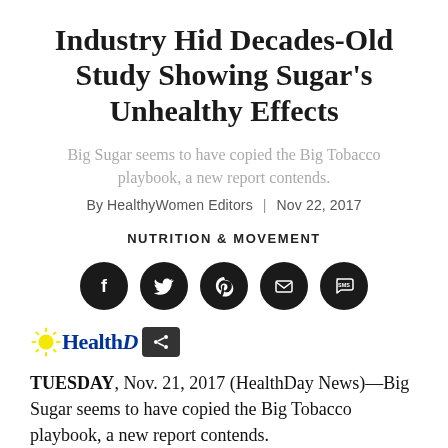Industry Hid Decades-Old Study Showing Sugar's Unhealthy Effects
Big Sugar seems to have copied the Big Tobacco playbook, a new report contends.
By HealthyWomen Editors | Nov 22, 2017
NUTRITION & MOVEMENT
[Figure (infographic): Social media sharing icons: Facebook, Twitter, Pinterest, Email, SMS — five black circular buttons]
[Figure (logo): HealthDay logo with yellow starburst graphic and blue bold text, followed by a dark share button with share icon]
TUESDAY, Nov. 21, 2017 (HealthDay News)—Big Sugar seems to have copied the Big Tobacco playbook, a new report contends.